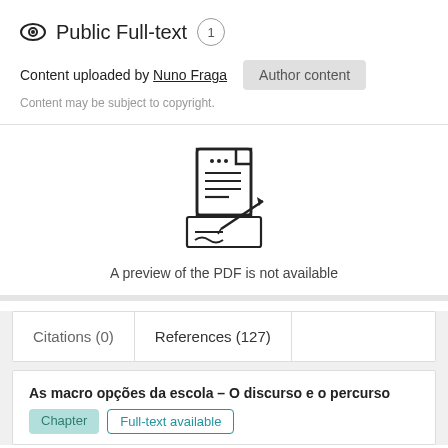Public Full-text 1
Content uploaded by Nuno Fraga  Author content
Content may be subject to copyright.
[Figure (illustration): Icon of a document with lines of text and a pen writing on a paper below it]
A preview of the PDF is not available
Citations (0)   References (127)
As macro opções da escola – O discurso e o percurso
Chapter   Full-text available